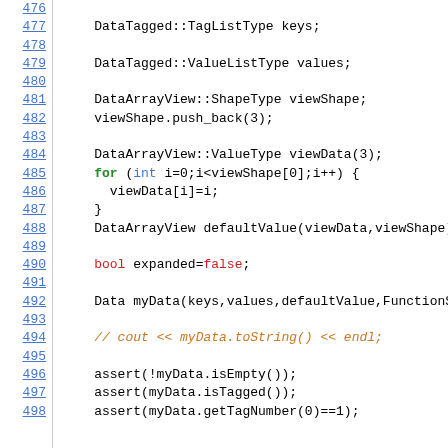Code listing lines 476-498 showing C++ source code with DataTagged, DataArrayView operations, bool expanded=false, Data myData construction, commented cout line, and assert statements.